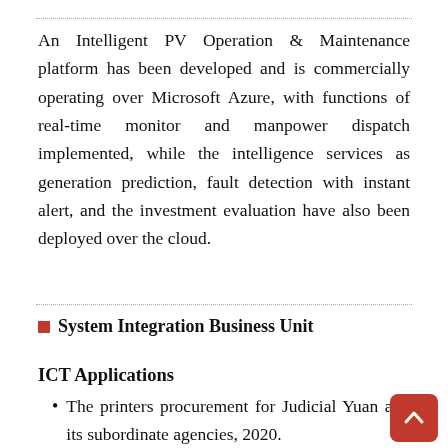An Intelligent PV Operation & Maintenance platform has been developed and is commercially operating over Microsoft Azure, with functions of real-time monitor and manpower dispatch implemented, while the intelligence services as generation prediction, fault detection with instant alert, and the investment evaluation have also been deployed over the cloud.
System Integration Business Unit
ICT Applications
The printers procurement for Judicial Yuan and its subordinate agencies, 2020.
The host virtualization and storage device procurement for Judicial Yuan and its subordinate agencies, 2020.